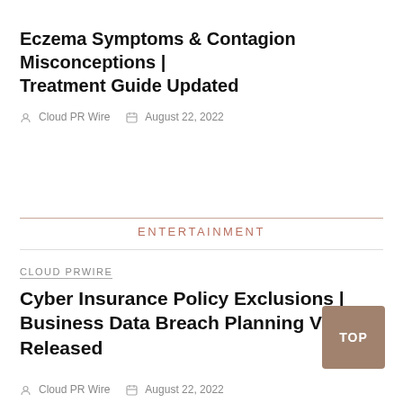Eczema Symptoms & Contagion Misconceptions | Treatment Guide Updated
Cloud PR Wire   August 22, 2022
ENTERTAINMENT
CLOUD PRWIRE
Cyber Insurance Policy Exclusions | Business Data Breach Planning Video Released
Cloud PR Wire   August 22, 2022